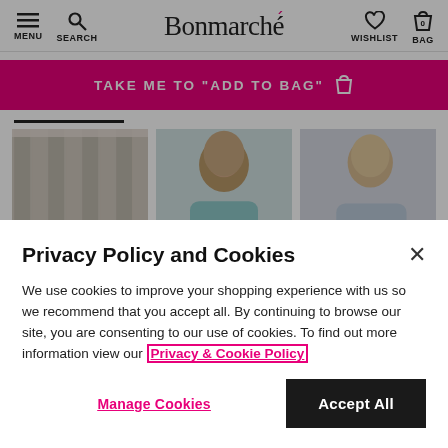Bonmarché — MENU, SEARCH, WISHLIST, BAG (0)
[Figure (screenshot): Pink banner button reading TAKE ME TO "ADD TO BAG" with shopping bag icon]
[Figure (photo): Three product/lifestyle images: curtains, woman in teal top, woman in floral top]
Privacy Policy and Cookies
We use cookies to improve your shopping experience with us so we recommend that you accept all. By continuing to browse our site, you are consenting to our use of cookies. To find out more information view our Privacy & Cookie Policy
Manage Cookies
Accept All